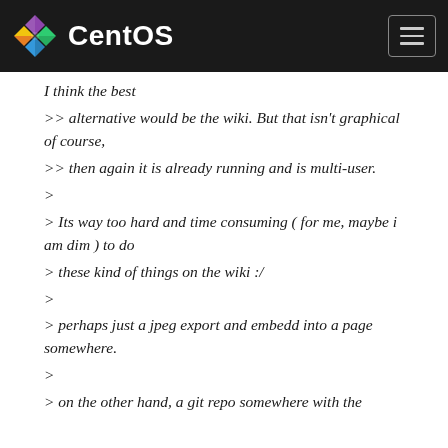CentOS
I think the best
>> alternative would be the wiki. But that isn't graphical of course,
>> then again it is already running and is multi-user.
>
> Its way too hard and time consuming ( for me, maybe i am dim ) to do
> these kind of things on the wiki :/
>
> perhaps just a jpeg export and embedd into a page somewhere.
>
> on the other hand, a git repo somewhere with the